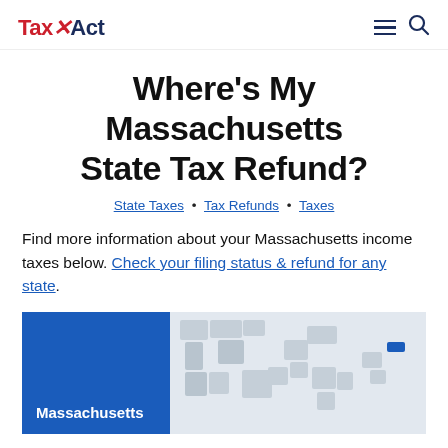TaxAct
Where's My Massachusetts State Tax Refund?
State Taxes • Tax Refunds • Taxes
Find more information about your Massachusetts income taxes below. Check your filing status & refund for any state.
[Figure (map): US map with Massachusetts highlighted in blue, other states in light gray. Left panel shows blue background with label 'Massachusetts'.]